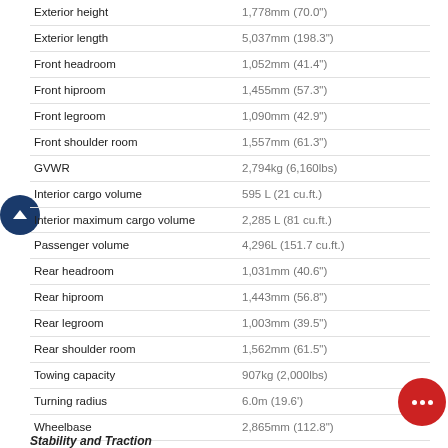| Specification | Value |
| --- | --- |
| Exterior height | 1,778mm (70.0") |
| Exterior length | 5,037mm (198.3") |
| Front headroom | 1,052mm (41.4") |
| Front hiproom | 1,455mm (57.3") |
| Front legroom | 1,090mm (42.9") |
| Front shoulder room | 1,557mm (61.3") |
| GVWR | 2,794kg (6,160lbs) |
| Interior cargo volume | 595 L (21 cu.ft.) |
| Interior maximum cargo volume | 2,285 L (81 cu.ft.) |
| Passenger volume | 4,296L (151.7 cu.ft.) |
| Rear headroom | 1,031mm (40.6") |
| Rear hiproom | 1,443mm (56.8") |
| Rear legroom | 1,003mm (39.5") |
| Rear shoulder room | 1,562mm (61.5") |
| Towing capacity | 907kg (2,000lbs) |
| Turning radius | 6.0m (19.6') |
| Wheelbase | 2,865mm (112.8") |
Stability and Traction